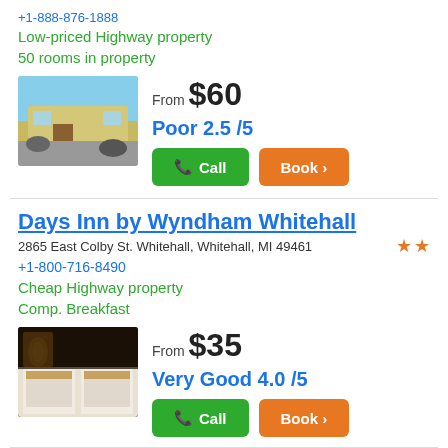+1-888-876-1888
Low-priced Highway property
50 rooms in property
[Figure (photo): Exterior photo of a highway motel with yellow building and blue sky]
From $60
Poor 2.5 /5
Call | Book
Days Inn by Wyndham Whitehall
2865 East Colby St. Whitehall, Whitehall, MI 49461
+1-800-716-8490
Cheap Highway property
Comp. Breakfast
[Figure (photo): Interior room photo with two beds and warm lamp lighting]
From $35
Very Good 4.0 /5
Call | Book
Days Inn by Wyndham Whitehall